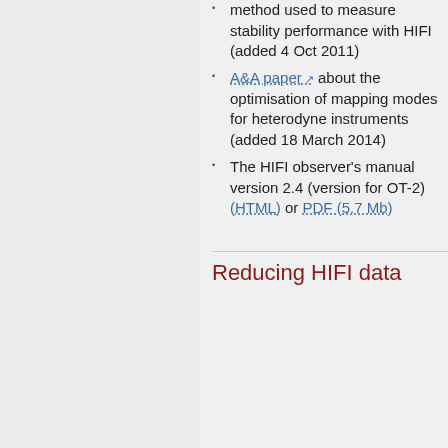method used to measure stability performance with HIFI (added 4 Oct 2011)
A&A paper about the optimisation of mapping modes for heterodyne instruments (added 18 March 2014)
The HIFI observer's manual version 2.4 (version for OT-2) (HTML) or PDF (5.7 Mb)
Reducing HIFI data